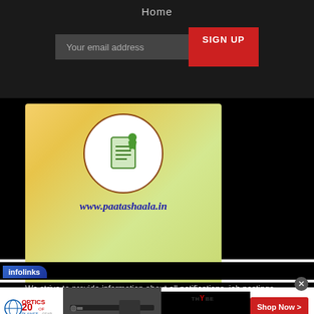Home
Your email address
SIGN UP
[Figure (logo): Paatashaala logo: circular logo with document/paper icon and green figure, on gradient yellow-green background with URL www.paatashaala.in]
We strive to provide information about all notifications, job postings, latest information.
[Figure (infographic): Infolinks advertisement bar with optics planet logo, rifle image, THYBE logo, SAVE UP TO 40% OFF INSTANTLY text, and Shop Now button]